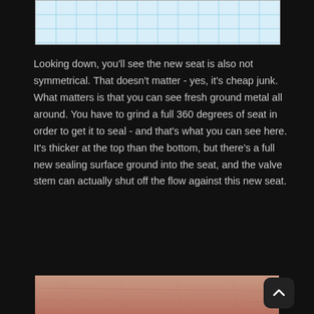[Figure (photo): Top portion of a photo showing grid paper or graph paper surface with light blue grid lines on white background]
Looking down, you'll see the new seat is also not symmetrical.  That doesn't matter - yes, it's cheap junk.  What matters is that you can see fresh ground metal all around.  You have to grind a full 360 degrees of seat in order to get it to seal - and that's what you can see here.  It's thicker at the top than the bottom, but there's a full new sealing surface ground into the seat, and the valve stem can actually shut off the flow against this new seat.
[Figure (photo): Bottom portion of a photo showing a pinkish/flesh-colored surface, likely metal or skin, partially visible at the bottom of the page]